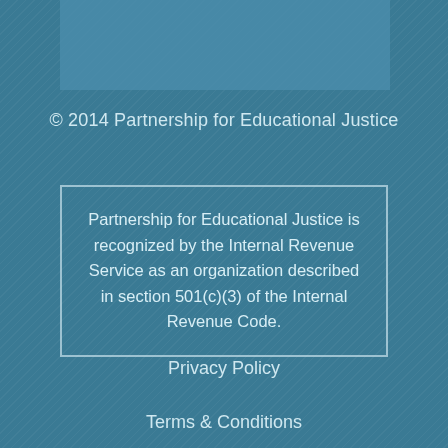[Figure (other): Teal/blue banner image at the top of the page]
© 2014 Partnership for Educational Justice
Partnership for Educational Justice is recognized by the Internal Revenue Service as an organization described in section 501(c)(3) of the Internal Revenue Code.
Privacy Policy
Terms & Conditions